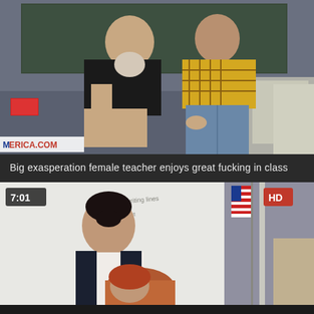[Figure (photo): Video thumbnail showing two people in a classroom setting, one wearing a yellow plaid shirt and jeans, the other in black clothing. A watermark reading 'MERICA.COM' is visible at the bottom left.]
Big exasperation female teacher enjoys great fucking in class
[Figure (photo): Video thumbnail showing two women in a classroom setting. One has dark hair in an updo wearing a white blouse and dark blazer, the other has red hair. A whiteboard and American flag are visible in background. Time badge '7:01' top left, 'HD' badge top right.]